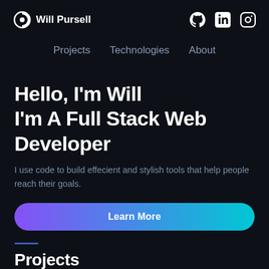Will Pursell
Projects  Technologies  About
Hello, I'm Will
I'm A Full Stack Web Developer
I use code to build effecient and stylish tools that help people reach their goals.
Learn More
Projects